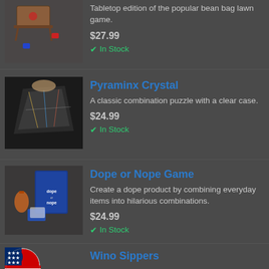[Figure (photo): Tabletop cornhole bean bag game set with boards and bags]
Tabletop edition of the popular bean bag lawn game.
$27.99
✔ In Stock
Pyraminx Crystal
[Figure (photo): Hands holding a Pyraminx Crystal combination puzzle with clear case]
A classic combination puzzle with a clear case.
$24.99
✔ In Stock
Dope or Nope Game
[Figure (photo): Dope or Nope card game box with game components]
Create a dope product by combining everyday items into hilarious combinations.
$24.99
✔ In Stock
Wino Sippers
[Figure (illustration): US flag circle icon]